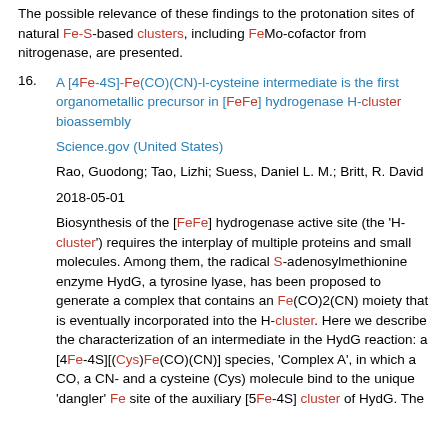The possible relevance of these findings to the protonation sites of natural Fe-S-based clusters, including FeMo-cofactor from nitrogenase, are presented.
16. A [4Fe-4S]-Fe(CO)(CN)-l-cysteine intermediate is the first organometallic precursor in [FeFe] hydrogenase H-cluster bioassembly
Science.gov (United States)
Rao, Guodong; Tao, Lizhi; Suess, Daniel L. M.; Britt, R. David
2018-05-01
Biosynthesis of the [FeFe] hydrogenase active site (the 'H-cluster') requires the interplay of multiple proteins and small molecules. Among them, the radical S-adenosylmethionine enzyme HydG, a tyrosine lyase, has been proposed to generate a complex that contains an Fe(CO)2(CN) moiety that is eventually incorporated into the H-cluster. Here we describe the characterization of an intermediate in the HydG reaction: a [4Fe-4S][(Cys)Fe(CO)(CN)] species, 'Complex A', in which a CO, a CN- and a cysteine (Cys) molecule bind to the unique 'dangler' Fe site of the auxiliary [5Fe-4S] cluster of HydG. The